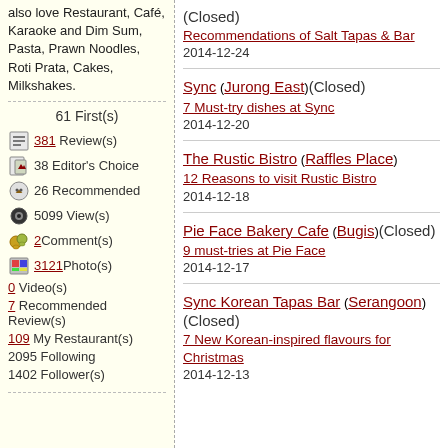also love Restaurant, Café, Karaoke and Dim Sum, Pasta, Prawn Noodles, Roti Prata, Cakes, Milkshakes.
61 First(s)
381 Review(s)
38 Editor's Choice
26 Recommended
5099 View(s)
2 Comment(s)
3121 Photo(s)
0 Video(s)
7 Recommended Review(s)
109 My Restaurant(s)
2095 Following
1402 Follower(s)
(Closed)
Recommendations of Salt Tapas & Bar 2014-12-24
Sync (Jurong East)(Closed) 7 Must-try dishes at Sync 2014-12-20
The Rustic Bistro (Raffles Place) 12 Reasons to visit Rustic Bistro 2014-12-18
Pie Face Bakery Cafe (Bugis)(Closed) 9 must-tries at Pie Face 2014-12-17
Sync Korean Tapas Bar (Serangoon)(Closed) 7 New Korean-inspired flavours for Christmas 2014-12-13